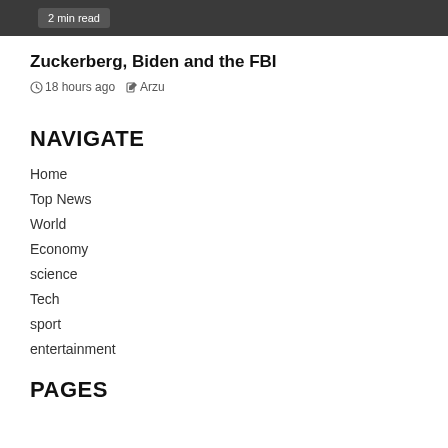2 min read
Zuckerberg, Biden and the FBI
18 hours ago  Arzu
NAVIGATE
Home
Top News
World
Economy
science
Tech
sport
entertainment
PAGES